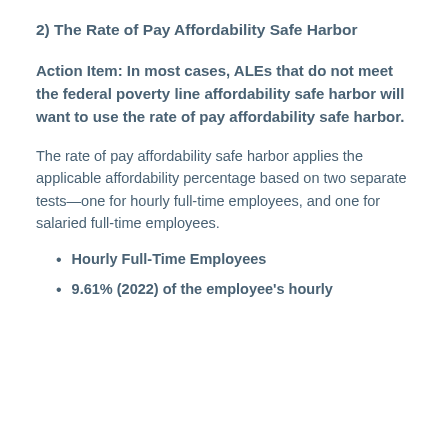2) The Rate of Pay Affordability Safe Harbor
Action Item: In most cases, ALEs that do not meet the federal poverty line affordability safe harbor will want to use the rate of pay affordability safe harbor.
The rate of pay affordability safe harbor applies the applicable affordability percentage based on two separate tests—one for hourly full-time employees, and one for salaried full-time employees.
Hourly Full-Time Employees
9.61% (2022) of the employee's hourly